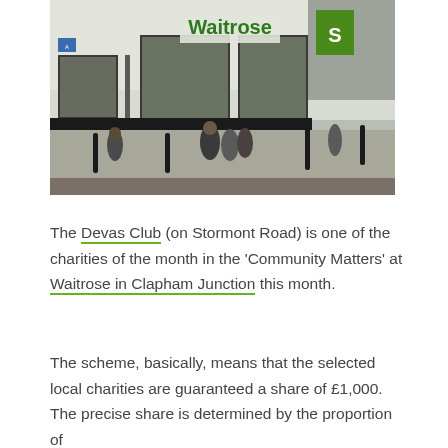[Figure (photo): Exterior photo of a Waitrose supermarket storefront with the green Waitrose logo sign above large glass windows. Shoppers and bollards visible on the pavement outside.]
The Devas Club (on Stormont Road) is one of the charities of the month in the 'Community Matters' at Waitrose in Clapham Junction this month.
The scheme, basically, means that the selected local charities are guaranteed a share of £1,000. The precise share is determined by the proportion of